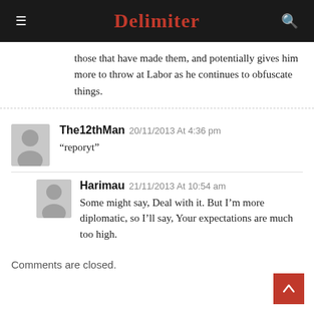Delimiter
those that have made them, and potentially gives him more to throw at Labor as he continues to obfuscate things.
The12thMan 20/11/2013 At 4:36 pm
“reporyt”
Harimau 21/11/2013 At 10:54 am
Some might say, Deal with it. But I’m more diplomatic, so I’ll say, Your expectations are much too high.
Comments are closed.